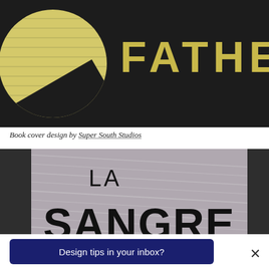[Figure (illustration): Book cover showing the word FATHER in large yellow letters on a dark background, with a yellow circle (notepad/lined paper) design element on the left side.]
Book cover design by Super South Studios
[Figure (illustration): Book cover showing the text 'LA SANGRE' in large bold black letters on a grey textured background, partially cropped.]
Design tips in your inbox?